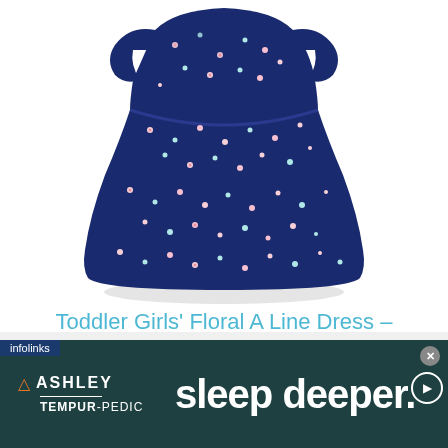[Figure (photo): A toddler girls' navy blue floral A-line dress with small pink, white, and teal flowers, short flutter sleeves, and a smocked waist, shown on a white background.]
Toddler Girls' Floral A Line Dress – Nightfall Blue
[Figure (other): Advertisement banner: Ashley Tempur-Pedic ad with text 'sleep deeper.' on a dark teal background. Infolinks label in top-left corner. Close and play buttons on right.]